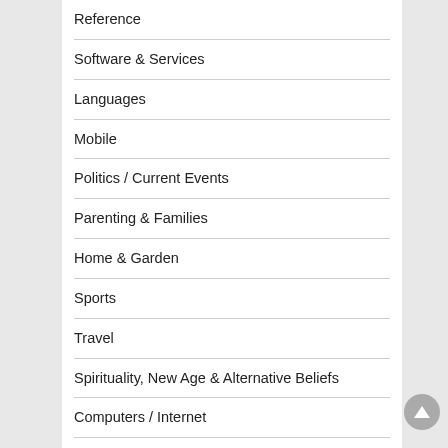Reference
Software & Services
Languages
Mobile
Politics / Current Events
Parenting & Families
Home & Garden
Sports
Travel
Spirituality, New Age & Alternative Beliefs
Computers / Internet
Business / Accounting